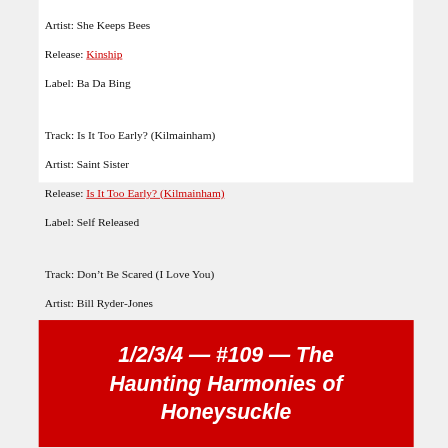Artist: She Keeps Bees
Release: Kinship
Label: Ba Da Bing
Track: Is It Too Early? (Kilmainham)
Artist: Saint Sister
Release: Is It Too Early? (Kilmainham)
Label: Self Released
Track: Don't Be Scared (I Love You)
Artist: Bill Ryder-Jones
Release: Yawny-Yawn
Label: Domino
1/2/3/4 — #109 — The Haunting Harmonies of Honeysuckle